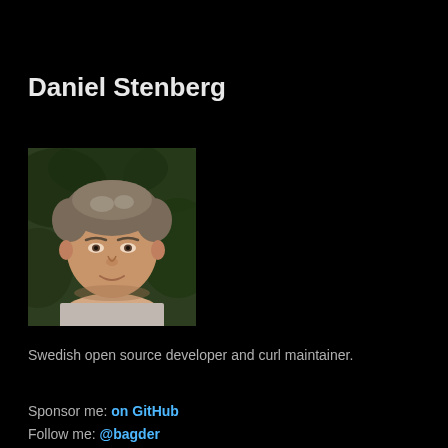Daniel Stenberg
[Figure (photo): Headshot photo of Daniel Stenberg, a middle-aged man with short grey-brown hair, smiling slightly, wearing a light grey t-shirt. Background is blurred green foliage.]
Swedish open source developer and curl maintainer.
Sponsor me: on GitHub
Follow me: @bagder